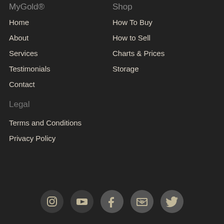MyGold®
Shop
Home
About
Services
Testimonials
Contact
How To Buy
How to Sell
Charts & Prices
Storage
Legal
Terms and Conditions
Privacy Policy
[Figure (other): Social media icons row: Instagram, YouTube, Facebook, LinkedIn, Twitter]